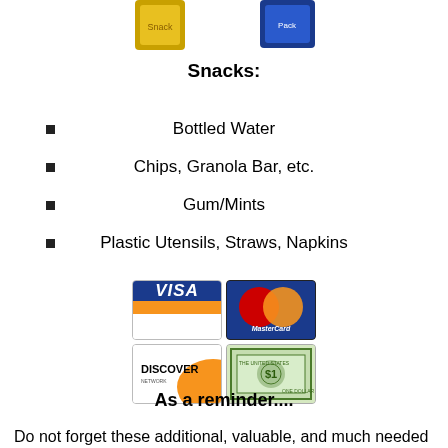[Figure (illustration): Partial view of snack/food product images at top of page]
Snacks:
Bottled Water
Chips, Granola Bar, etc.
Gum/Mints
Plastic Utensils, Straws, Napkins
[Figure (logo): Payment method logos: Visa, MasterCard, Discover, and Cash (dollar bill)]
As a reminder....
Do not forget these additional, valuable, and much needed